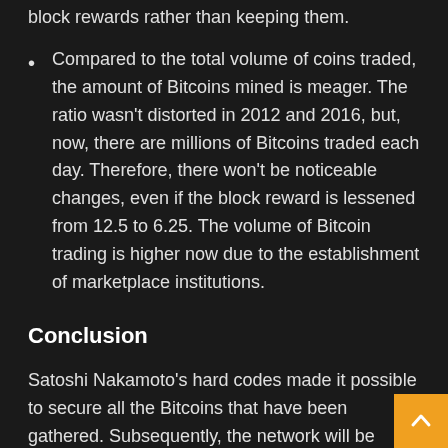block rewards rather than keeping them.
Compared to the total volume of coins traded, the amount of Bitcoins mined is meager. The ratio wasn't distorted in 2012 and 2016, but, now, there are millions of Bitcoins traded each day. Therefore, there won't be noticeable changes, even if the block reward is lessened from 12.5 to 6.25. The volume of Bitcoin trading is higher now due to the establishment of marketplace institutions.
Conclusion
Satoshi Nakamoto's hard codes made it possible to secure all the Bitcoins that have been gathered. Subsequently, the network will be sustained through internal tokenomics.